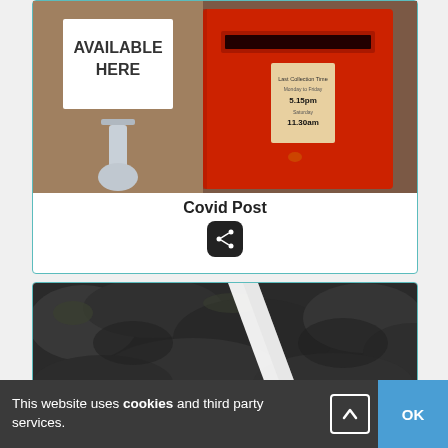[Figure (photo): A red UK Royal Mail post box on a street, with a white sign reading 'AVAILABLE HERE' next to it and a hand sanitiser dispenser]
Covid Post
[Figure (photo): Dark rocky terrain with a white streak or path visible through it]
This website uses cookies and third party services.